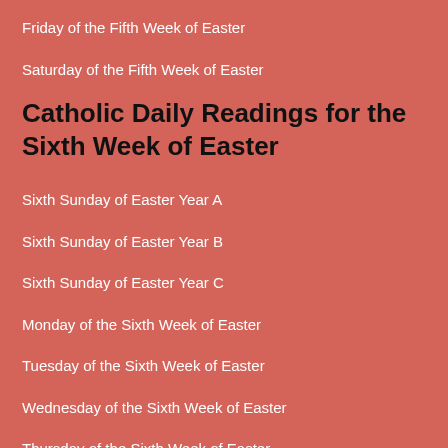Friday of the Fifth Week of Easter
Saturday of the Fifth Week of Easter
Catholic Daily Readings for the Sixth Week of Easter
Sixth Sunday of Easter Year A
Sixth Sunday of Easter Year B
Sixth Sunday of Easter Year C
Monday of the Sixth Week of Easter
Tuesday of the Sixth Week of Easter
Wednesday of the Sixth Week of Easter
Thursday of the Sixth Week of Easter